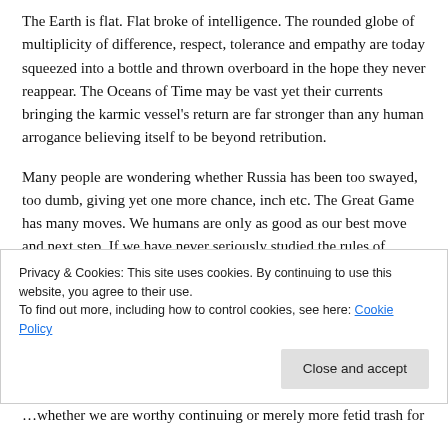The Earth is flat. Flat broke of intelligence. The rounded globe of multiplicity of difference, respect, tolerance and empathy are today squeezed into a bottle and thrown overboard in the hope they never reappear. The Oceans of Time may be vast yet their currents bringing the karmic vessel's return are far stronger than any human arrogance believing itself to be beyond retribution.
Many people are wondering whether Russia has been too swayed, too dumb, giving yet one more chance, inch etc. The Great Game has many moves. We humans are only as good as our best move and next step. If we have never seriously studied the rules of engagement then we are hollow tin drums, doomed with or without chess masters. One thing is damn sure. Russia will not launch itself into global obliteration for the hell of it. Others may feel they are immune or exceptional enough to do so. History has proven these ones never win, let alone come out
Privacy & Cookies: This site uses cookies. By continuing to use this website, you agree to their use.
To find out more, including how to control cookies, see here: Cookie Policy
whether we are worthy continuing or merely more fetid trash for